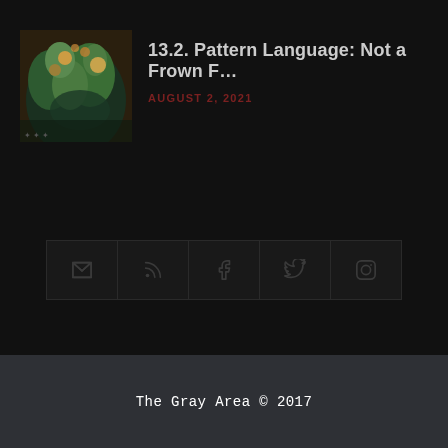[Figure (photo): Thumbnail image for blog post, showing colorful nature/floral scene]
13.2. Pattern Language: Not a Frown F…
AUGUST 2, 2021
[Figure (infographic): Social media icon bar with five icons: email/envelope, RSS feed, Facebook, Twitter, Instagram]
The Gray Area © 2017